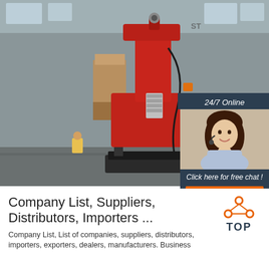[Figure (photo): Large red industrial machine (forge press or hammer) inside a factory/warehouse with concrete floor and steel-frame roof structure.]
[Figure (infographic): Chat widget overlay showing '24/7 Online', a photo of a woman with headset smiling, text 'Click here for free chat!', and an orange 'QUOTATION' button.]
Company List, Suppliers, Distributors, Importers ...
[Figure (logo): Orange and dark-gray TOP logo with triangle of dots above the word TOP]
Company List, List of companies, suppliers, distributors, importers, exporters, dealers, manufacturers. Business